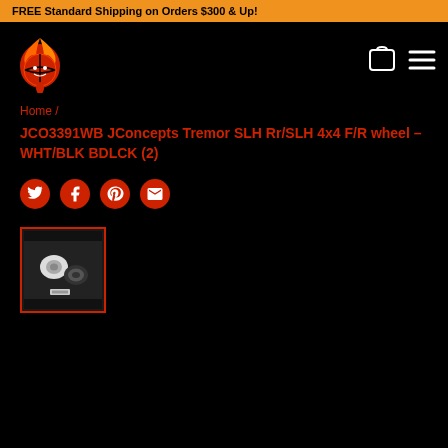FREE Standard Shipping on Orders $300 & Up!
[Figure (logo): Hot Racing logo - flaming basketball with red text]
Breadcrumb navigation with cart and menu icons
Home /
JCO3391WB JConcepts Tremor SLH Rr/SLH 4x4 F/R wheel – WHT/BLK BDLCK (2)
[Figure (infographic): Social share icons: Twitter, Facebook, Pinterest, Email]
[Figure (photo): Product thumbnail image of JConcepts Tremor wheels, white and black, shown against dark background, in red-bordered box]